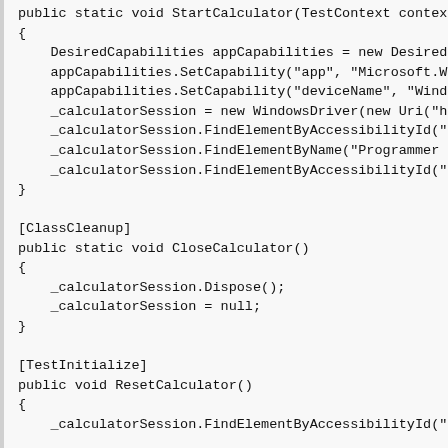public static void StartCalculator(TestContext context)
{
    DesiredCapabilities appCapabilities = new DesiredCapabil
    appCapabilities.SetCapability("app", "Microsoft.WindowsC
    appCapabilities.SetCapability("deviceName", "WindowsPC
    _calculatorSession = new WindowsDriver(new Uri("http://
    _calculatorSession.FindElementByAccessibilityId("NavButt
    _calculatorSession.FindElementByName("Programmer Ca
    _calculatorSession.FindElementByAccessibilityId("decima
}

[ClassCleanup]
public static void CloseCalculator()
{
    _calculatorSession.Dispose();
    _calculatorSession = null;
}

[TestInitialize]
public void ResetCalculator()
{
    _calculatorSession.FindElementByAccessibilityId("decim